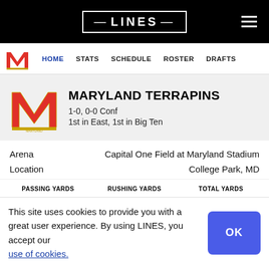LINES
HOME  STATS  SCHEDULE  ROSTER  DRAFTS
MARYLAND TERRAPINS
1-0, 0-0 Conf
1st in East, 1st in Big Ten
Arena  Capital One Field at Maryland Stadium
Location  College Park, MD
| PASSING YARDS | RUSHING YARDS | TOTAL YARDS |
| --- | --- | --- |
| 39th | 77th | 56th |
This site uses cookies to provide you with a great user experience. By using LINES, you accept our use of cookies.